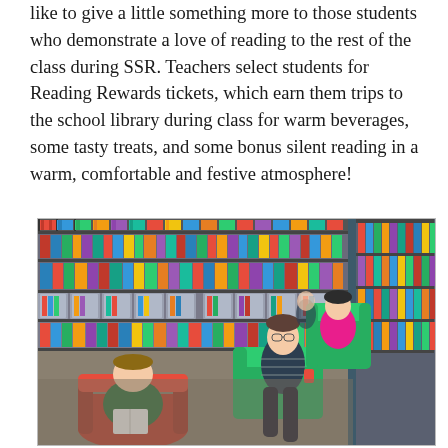like to give a little something more to those students who demonstrate a love of reading to the rest of the class during SSR. Teachers select students for Reading Rewards tickets, which earn them trips to the school library during class for warm beverages, some tasty treats, and some bonus silent reading in a warm, comfortable and festive atmosphere!
[Figure (photo): Students sitting in colorful armchairs (red and green) in a school library, reading books. Bookshelves filled with books line the walls behind them. Three students are visible reading in the comfortable chairs in a library setting.]